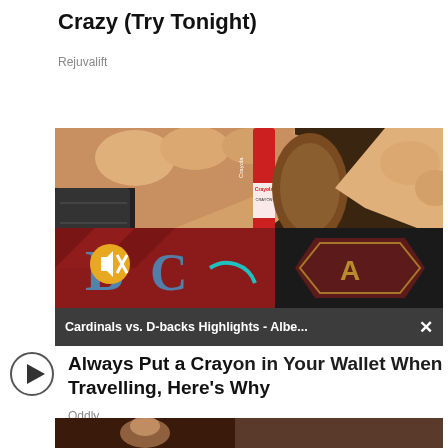Crazy (Try Tonight)
Rejuvalift
[Figure (photo): Close-up photo of a hand pulling a red Crayola crayon from a dark wallet, with a Cardinals vs. D-backs video overlay and mute/loading icons]
Cardinals vs. D-backs Highlights - Albe...
Always Put a Crayon in Your Wallet When Travelling, Here's Why
Oddly
[Figure (photo): Partial thumbnail of a second video/article]